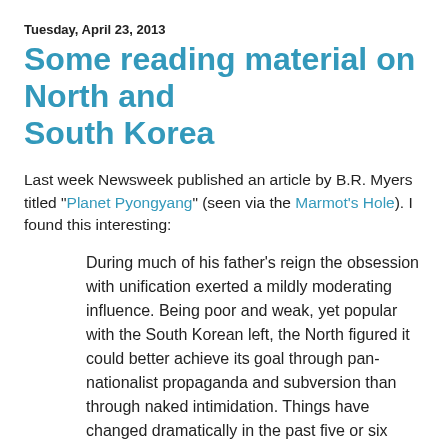Tuesday, April 23, 2013
Some reading material on North and South Korea
Last week Newsweek published an article by B.R. Myers titled "Planet Pyongyang" (seen via the Marmot's Hole). I found this interesting:
During much of his father’s reign the obsession with unification exerted a mildly moderating influence. Being poor and weak, yet popular with the South Korean left, the North figured it could better achieve its goal through pan-nationalist propaganda and subversion than through naked intimidation. Things have changed dramatically in the past five or six years. It isn’t just that the nuclear program has taken such a big step forward. Pyongyang’s ally is now so obviously in the ascendant, Seoul’s so obviously on the decline; Washington’s growing deference to Beijing is no secret to anyone in North Korea. At